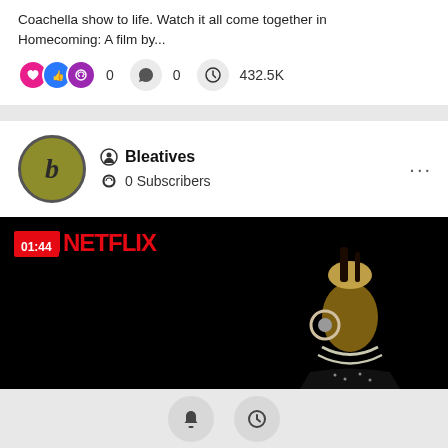Coachella show to life. Watch it all come together in Homecoming: A film by...
0  0  432.5K
Bleatives
0 Subscribers
[Figure (screenshot): Netflix video thumbnail showing a performer with elaborate headdress and jewelry against a black background, with timestamp 01:44 and Netflix logo]
[Figure (other): Bottom navigation bar with bell (notifications) and clock (history) icons]